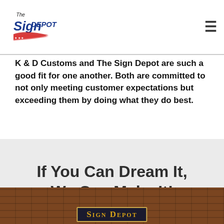The Sign Depot logo and navigation menu
K & D Customs and The Sign Depot are such a good fit for one another. Both are committed to not only meeting customer expectations but exceeding them by doing what they do best.
If You Can Dream It, We Can Make It!
[Figure (photo): Photo of a brick wall storefront with a Sign Depot sign hung on it, featuring gold lettering on a dark background with an ornate border.]